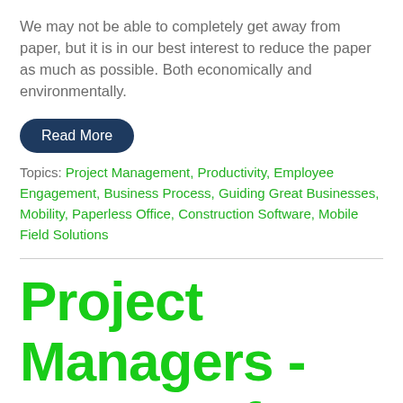We may not be able to completely get away from paper, but it is in our best interest to reduce the paper as much as possible. Both economically and environmentally.
Read More
Topics: Project Management, Productivity, Employee Engagement, Business Process, Guiding Great Businesses, Mobility, Paperless Office, Construction Software, Mobile Field Solutions
Project Managers - Master of your Domain